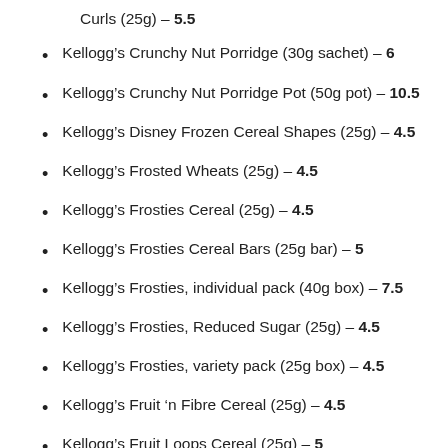Curls (25g) – 5.5
Kellogg's Crunchy Nut Porridge (30g sachet) – 6
Kellogg's Crunchy Nut Porridge Pot (50g pot) – 10.5
Kellogg's Disney Frozen Cereal Shapes (25g) – 4.5
Kellogg's Frosted Wheats (25g) – 4.5
Kellogg's Frosties Cereal (25g) – 4.5
Kellogg's Frosties Cereal Bars (25g bar) – 5
Kellogg's Frosties, individual pack (40g box) – 7.5
Kellogg's Frosties, Reduced Sugar (25g) – 4.5
Kellogg's Frosties, variety pack (25g box) – 4.5
Kellogg's Fruit 'n Fibre Cereal (25g) – 4.5
Kellogg's Fruit Loops Cereal (25g) – 5